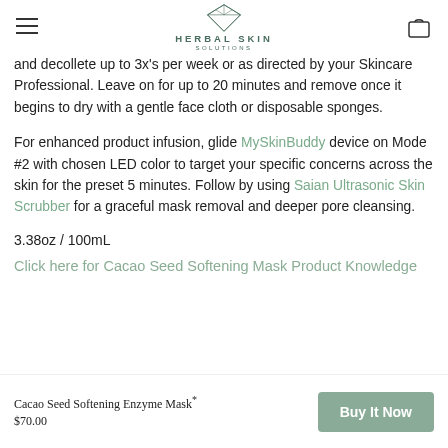HERBAL SKIN SOLUTIONS
and decollete up to 3x's per week or as directed by your Skincare Professional. Leave on for up to 20 minutes and remove once it begins to dry with a gentle face cloth or disposable sponges.
For enhanced product infusion, glide MySkinBuddy device on Mode #2 with chosen LED color to target your specific concerns across the skin for the preset 5 minutes. Follow by using Saian Ultrasonic Skin Scrubber for a graceful mask removal and deeper pore cleansing.
3.38oz / 100mL
Click here for Cacao Seed Softening Mask Product Knowledge
Cacao Seed Softening Enzyme Mask*
$70.00